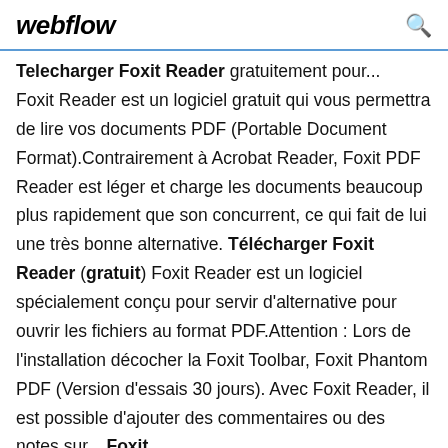webflow
Telecharger Foxit Reader gratuitement pour... Foxit Reader est un logiciel gratuit qui vous permettra de lire vos documents PDF (Portable Document Format).Contrairement à Acrobat Reader, Foxit PDF Reader est léger et charge les documents beaucoup plus rapidement que son concurrent, ce qui fait de lui une très bonne alternative. Télécharger Foxit Reader (gratuit) Foxit Reader est un logiciel spécialement conçu pour servir d'alternative pour ouvrir les fichiers au format PDF.Attention : Lors de l'installation décocher la Foxit Toolbar, Foxit Phantom PDF (Version d'essais 30 jours). Avec Foxit Reader, il est possible d'ajouter des commentaires ou des notes sur... Foxit